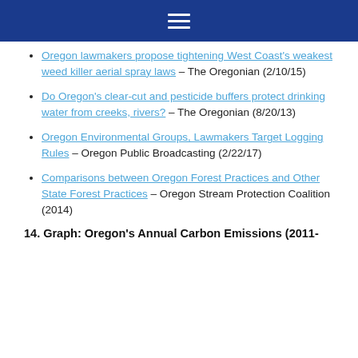☰
Oregon lawmakers propose tightening West Coast's weakest weed killer aerial spray laws – The Oregonian (2/10/15)
Do Oregon's clear-cut and pesticide buffers protect drinking water from creeks, rivers? – The Oregonian (8/20/13)
Oregon Environmental Groups, Lawmakers Target Logging Rules – Oregon Public Broadcasting (2/22/17)
Comparisons between Oregon Forest Practices and Other State Forest Practices – Oregon Stream Protection Coalition (2014)
14. Graph: Oregon's Annual Carbon Emissions (2011-